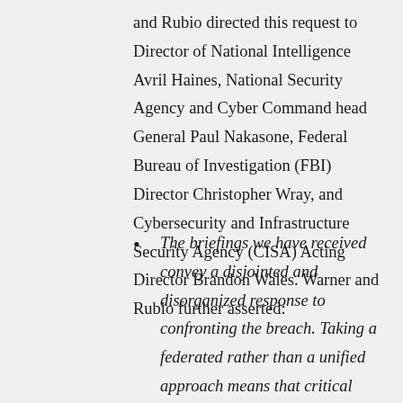and Rubio directed this request to Director of National Intelligence Avril Haines, National Security Agency and Cyber Command head General Paul Nakasone, Federal Bureau of Investigation (FBI) Director Christopher Wray, and Cybersecurity and Infrastructure Security Agency (CISA) Acting Director Brandon Wales. Warner and Rubio further asserted:
The briefings we have received convey a disjointed and disorganized response to confronting the breach. Taking a federated rather than a unified approach means that critical tasks that are outside the central roles of your respective agencies are likely to fall through the